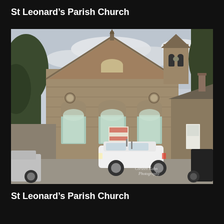St Leonard’s Parish Church
[Figure (photo): Exterior photograph of St Leonard’s Parish Church, a stone-built Victorian church with Gothic arched windows, a triangular gable, a small bell tower on the right, and cars parked in the foreground. Trees visible on both sides. Watermark reads 'Corteen Kuhn Photography'.]
St Leonard’s Parish Church